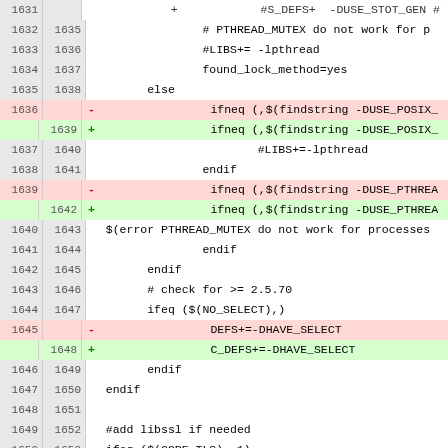[Figure (screenshot): Diff view of a Makefile showing code changes related to PTHREAD_MUTEX, POSIX, DHAVE_SELECT, and libssl settings. Lines 1631-1654 shown with old (left) and new (right) line numbers, deletions highlighted in red/pink and additions in green.]